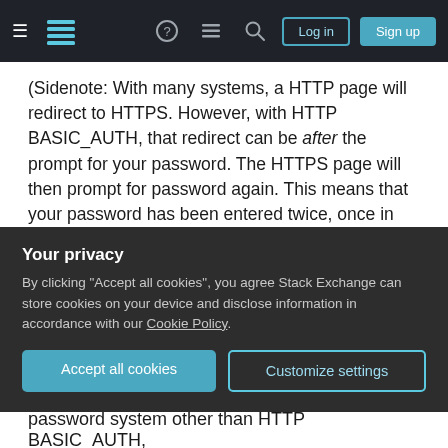Stack Exchange navigation bar with Log in and Sign up buttons
(Sidenote: With many systems, a HTTP page will redirect to HTTPS. However, with HTTP BASIC_AUTH, that redirect can be after the prompt for your password. The HTTPS page will then prompt for password again. This means that your password has been entered twice, once in cleartext and once over a secure channel. It is in principle possible to have different passwords for the HTTP and HTTPS versions, or to have no password for the HTTP version: all it does is redirect to the HTTPS version which then asks for a password.)
Your privacy
By clicking "Accept all cookies", you agree Stack Exchange can store cookies on your device and disclose information in accordance with our Cookie Policy.
Accept all cookies   Customize settings
password system other than HTTP BASIC_AUTH,